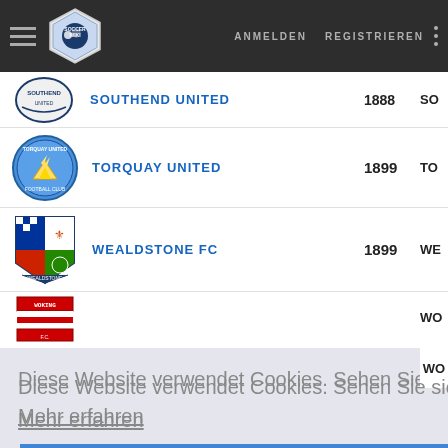Soccer Wiki navigation bar with ANMELDEN REGISTRIEREN
SOUTHEND UNITED 1888 SO
TORQUAY UNITED 1899 TO
WEALDSTONE FC 1899 WE
Diese Website verwendet Cookies. Sehen Sie sich unsere Cookie-Richtlinie an.
Mehr erfahren
Okay